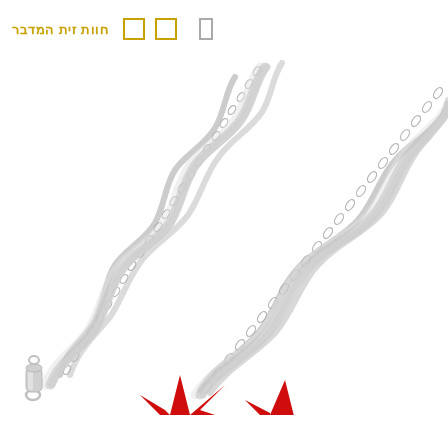חוות זית המדבר
[Figure (photo): A silver twisted rope chain necklace with a lobster clasp on the lower left, displayed on a white background. The chain runs diagonally from lower-left to upper-right. Red decorative shapes are partially visible at the bottom center.]